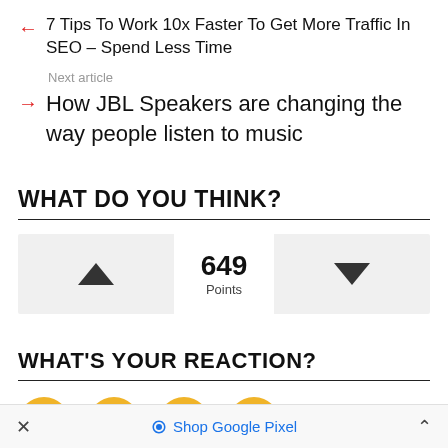← 7 Tips To Work 10x Faster To Get More Traffic In SEO – Spend Less Time
Next article
→ How JBL Speakers are changing the way people listen to music
WHAT DO YOU THINK?
[Figure (infographic): Vote widget showing upvote button (triangle up), 649 Points in center, downvote button (triangle down)]
WHAT'S YOUR REACTION?
[Figure (infographic): Row of emoji reaction circles (partially visible), gold/yellow colored]
× Shop Google Pixel ∧